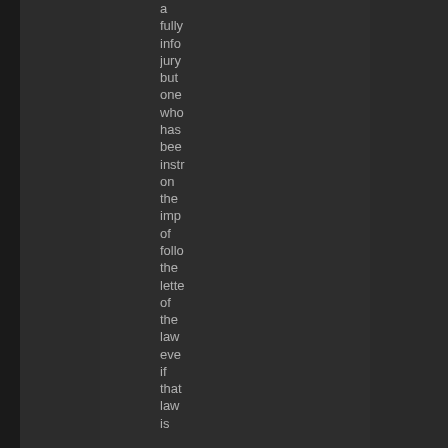a fully info jury but one who has been instructed on the importance of following the letter of the law even if that law is